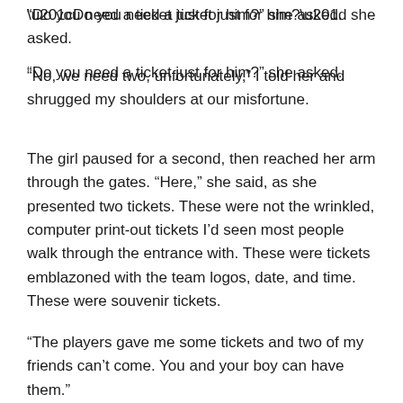“Do you need a ticket just for him?” she asked.
“No, we need two, unfortunately,” I told her and shrugged my shoulders at our misfortune.
The girl paused for a second, then reached her arm through the gates. “Here,” she said, as she presented two tickets. These were not the wrinkled, computer print-out tickets I’d seen most people walk through the entrance with. These were tickets emblazoned with the team logos, date, and time. These were souvenir tickets.
“The players gave me some tickets and two of my friends can’t come. You and your boy can have them.”